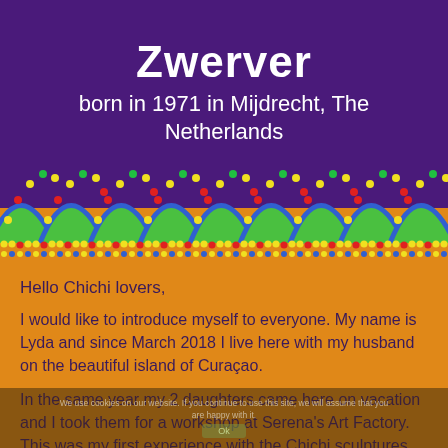Zwerver
born in 1971 in Mijdrecht, The Netherlands
[Figure (illustration): Decorative arch/wave border with colorful dots on orange background — green arches outlined in blue with yellow, red and multicolor dots.]
Hello Chichi lovers,
I would like to introduce myself to everyone. My name is Lyda and since March 2018 I live here with my husband on the beautiful island of Curaçao.
In the same year my 2 daughters came here on vacation and I took them for a workshop at Serena's Art Factory. This was my first experience with the Chichi sculptures. While painting I become so relaxed that I decided to